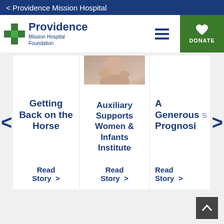< Providence Mission Hospital
[Figure (logo): Providence Mission Hospital Foundation logo with green cross and blue text]
DONATE
Getting Back on the Horse
Read Story >
[Figure (photo): Close-up photo of hands, baby-related image]
Auxiliary Supports Women & Infants Institute
Read Story >
A Generous Prognosis
Read Story >